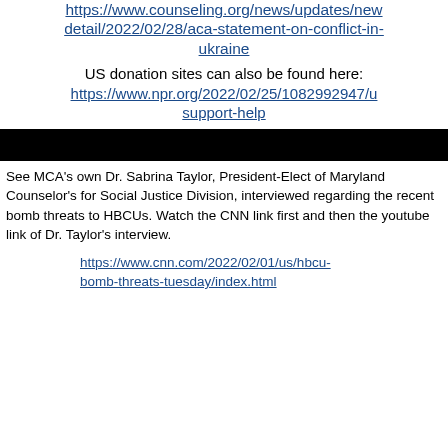https://www.counseling.org/news/updates/news-detail/2022/02/28/aca-statement-on-conflict-in-ukraine
US donation sites can also be found here: https://www.npr.org/2022/02/25/1082992947/u support-help
[Figure (other): Black redaction bar]
See MCA's own Dr. Sabrina Taylor, President-Elect of Maryland Counselor's for Social Justice Division, interviewed regarding the recent bomb threats to HBCUs. Watch the CNN link first and then the youtube link of Dr. Taylor's interview.
https://www.cnn.com/2022/02/01/us/hbcu-bomb-threats-tuesday/index.html